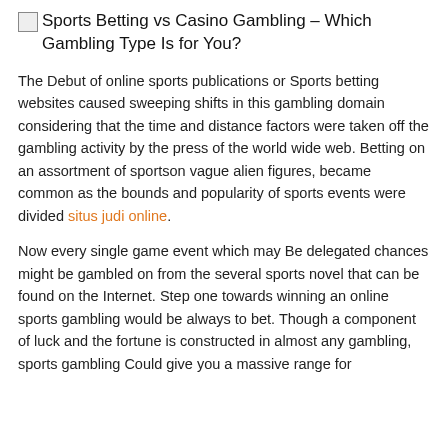Sports Betting vs Casino Gambling - Which Gambling Type Is for You?
The Debut of online sports publications or Sports betting websites caused sweeping shifts in this gambling domain considering that the time and distance factors were taken off the gambling activity by the press of the world wide web. Betting on an assortment of sportson vague alien figures, became common as the bounds and popularity of sports events were divided situs judi online.
Now every single game event which may Be delegated chances might be gambled on from the several sports novel that can be found on the Internet. Step one towards winning an online sports gambling would be always to bet. Though a component of luck and the fortune is constructed in almost any gambling, sports gambling Could give you a massive range for